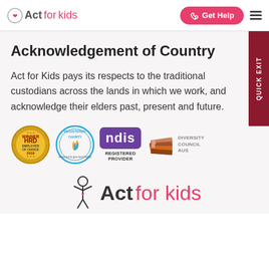Act for kids — Get Help
Acknowledgement of Country
Act for Kids pays its respects to the traditional custodians across the lands in which we work, and acknowledge their elders past, present and future.
[Figure (logo): Row of accreditation badges: HRD Employer of Choice 2019 gold medal, Registered Charity logo, NDIS Registered Provider badge, Diversity Council Australia logo with map]
[Figure (logo): Act for Kids footer logo with cartoon child figure]